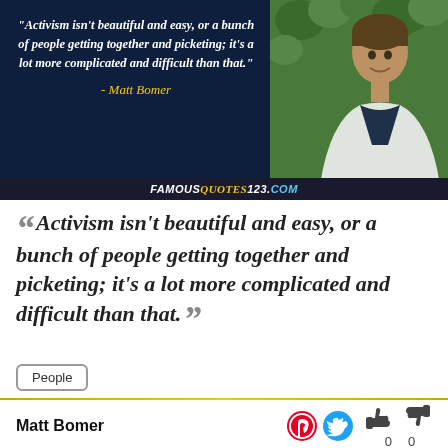[Figure (photo): Quote card with dark blue background showing italic bold quote text in white, attribution 'Matt Bomer' in yellow italic text, photo of a man on right side with green leafy background, and FAMOUSQUOTES123.COM branding at bottom]
Activism isn't beautiful and easy, or a bunch of people getting together and picketing; it's a lot more complicated and difficult than that.
People
Matt Bomer
0  0